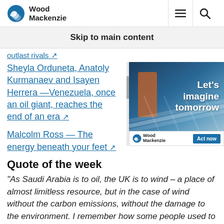Wood Mackenzie
Skip to main content
outlast rivals ↗
Sheyla Orduneta, Anatoly Kurmanaev and Isayen Herrera —Venezuela, once an oil giant, reaches the end of an era ↗
[Figure (photo): Wood Mackenzie advertisement with text 'Let's imagine tomorrow' over an image of a solar panel worker. Wood Mackenzie logo and 'Act now' button at bottom.]
Malcolm Ross — The energy beneath your feet ↗
Quote of the week
“As Saudi Arabia is to oil, the UK is to wind – a place of almost limitless resource, but in the case of wind without the carbon emissions, without the damage to the environment. I remember how some people used to sneer at wind power, twenty years ago, and say that it would be all the same effect on the line. The front